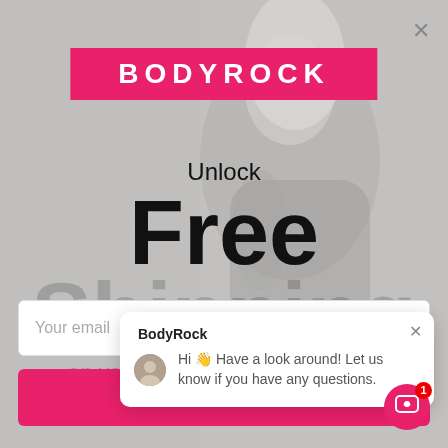[Figure (photo): Blurred background photo of a fitness woman with blonde hair in athletic wear]
[Figure (logo): BodyRock logo: white bold text on pink/magenta rectangular background]
Unlock
Free Shipping
on your order
[Figure (screenshot): Chat popup overlay: BodyRock chat with avatar and message 'Hi 👋 Have a look around! Let us know if you have any questions.']
Your email
CONTINUE